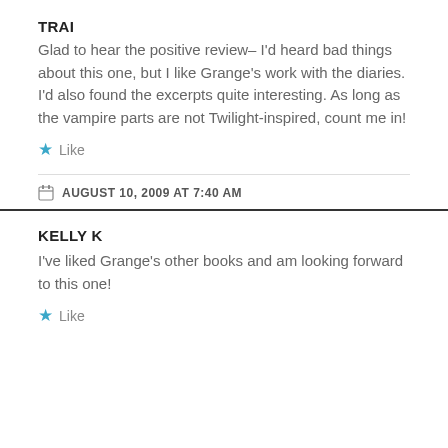TRAI
Glad to hear the positive review– I'd heard bad things about this one, but I like Grange's work with the diaries. I'd also found the excerpts quite interesting. As long as the vampire parts are not Twilight-inspired, count me in!
Like
AUGUST 10, 2009 AT 7:40 AM
KELLY K
I've liked Grange's other books and am looking forward to this one!
Like